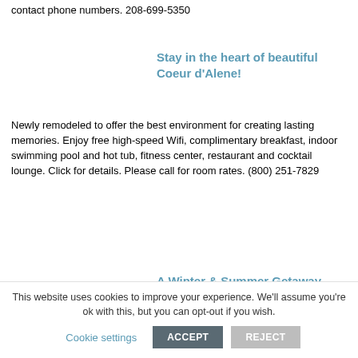contact phone numbers. 208-699-5350
Stay in the heart of beautiful Coeur d'Alene!
Newly remodeled to offer the best environment for creating lasting memories. Enjoy free high-speed Wifi, complimentary breakfast, indoor swimming pool and hot tub, fitness center, restaurant and cocktail lounge. Click for details. Please call for room rates. (800) 251-7829
A Winter & Summer Getaway
This website uses cookies to improve your experience. We'll assume you're ok with this, but you can opt-out if you wish.